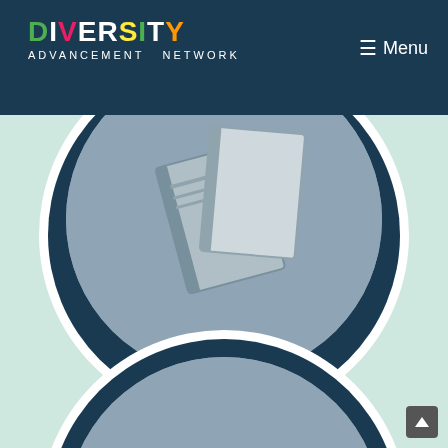DIVERSITY ADVANCEMENT NETWORK — Menu
[Figure (illustration): Circular badge with dark navy ring and grey center showing a book image, labeled 'Women Digest' in white italic text at the bottom]
Women Digest
[Figure (illustration): Circular badge with dark navy ring and grey center showing a CEO magazine cover image, partially visible at the bottom of the page]